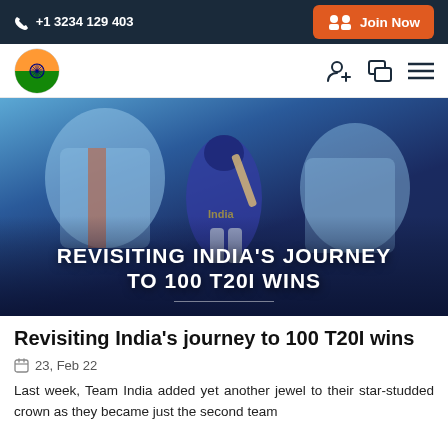📞 +1 3234 129 403    [Join Now]
[Figure (photo): Website navigation bar with Bharat Army logo on the left and user/chat/menu icons on the right]
[Figure (photo): Hero banner image showing Indian cricket players in blue jerseys with text overlay: REVISITING INDIA'S JOURNEY TO 100 T20I WINS]
Revisiting India's journey to 100 T20I wins
23, Feb 22
Last week, Team India added yet another jewel to their star-studded crown as they became just the second team